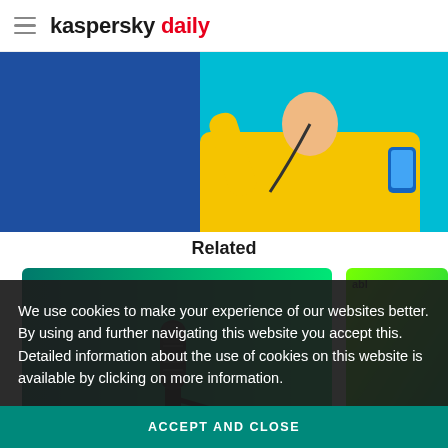kaspersky daily
[Figure (photo): Woman in yellow sweater holding a blue smartphone against a teal/blue background]
Related
[Figure (photo): Podcast microphone on green gradient background, card showing number 262]
[Figure (photo): Green gradient card, partially visible, showing number 261]
We use cookies to make your experience of our websites better. By using and further navigating this website you accept this. Detailed information about the use of cookies on this website is available by clicking on more information.
ACCEPT AND CLOSE